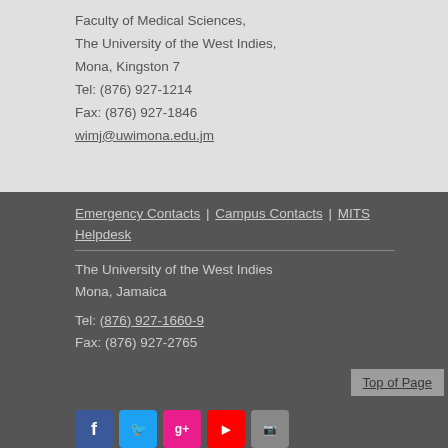Faculty of Medical Sciences,
The University of the West Indies,
Mona, Kingston 7
Tel: (876) 927-1214
Fax: (876) 927-1846
wimj@uwimona.edu.jm
Emergency Contacts | Campus Contacts | MITS
Helpdesk
The University of the West Indies
Mona, Jamaica
Tel: (876) 927-1660-9
Fax: (876) 927-2765
Top of Page
[Figure (illustration): Social media icons: Facebook, Twitter, Google+/Pinterest, YouTube, Instagram]